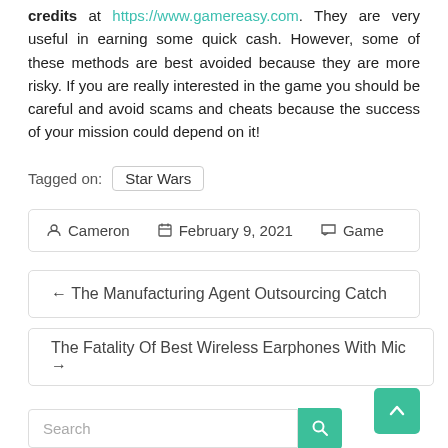credits at https://www.gamereasy.com. They are very useful in earning some quick cash. However, some of these methods are best avoided because they are more risky. If you are really interested in the game you should be careful and avoid scams and cheats because the success of your mission could depend on it!
Tagged on:  Star Wars
Cameron  February 9, 2021  Game
← The Manufacturing Agent Outsourcing Catch
The Fatality Of Best Wireless Earphones With Mic →
Search